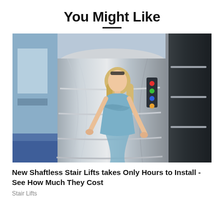You Might Like
[Figure (photo): A woman in a blue off-shoulder dress standing inside a shaftless stair lift / elevator cylindrical pod with chrome rails, with a dark elevator door visible on the right side]
New Shaftless Stair Lifts takes Only Hours to Install - See How Much They Cost
Stair Lifts